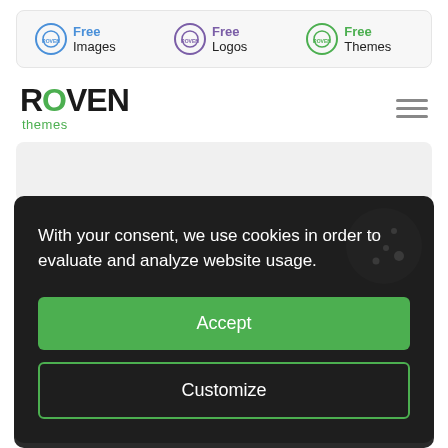[Figure (screenshot): Top navigation bar with three items: Free Images (blue), Free Logos (purple), Free Themes (green), each with a Roven circular logo icon]
[Figure (logo): Roven Themes logo — ROVEN in bold black with green O, 'themes' in green below, hamburger menu icon on right]
With your consent, we use cookies in order to evaluate and analyze website usage.
Accept
Customize